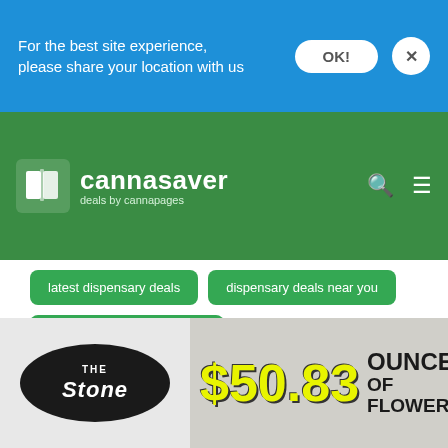For the best site experience, please share your location with us
[Figure (logo): Cannasaver logo with book icon, text 'cannasaver deals by cannapages' on green background with cannabis leaf watermark]
latest dispensary deals
dispensary deals near you
dispensary deals in boulder
denver dispensary deals near me
cbd isolate
what is cbd good for
cbd terpenes
cbd coupon
best cbd deals
cbd prices
best deals on cbd oil
cbd online
dispensary deals today
[Figure (advertisement): The Stone dispensary ad showing $50.83 ounce of flower deal]